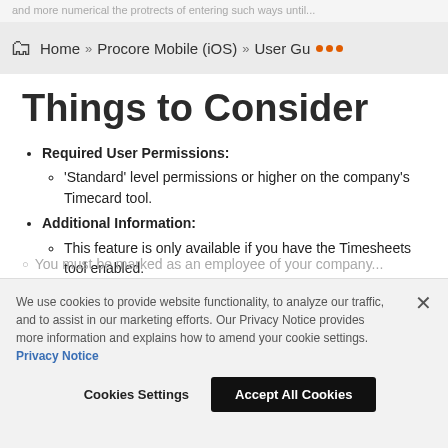and more numerical the protrects of entering such ways until...
Home » Procore Mobile (iOS) » User Gu ...
Things to Consider
Required User Permissions:
'Standard' level permissions or higher on the company's Timecard tool.
Additional Information:
This feature is only available if you have the Timesheets tool enabled.
You must be marked as an employee of your company...
We use cookies to provide website functionality, to analyze our traffic, and to assist in our marketing efforts. Our Privacy Notice provides more information and explains how to amend your cookie settings. Privacy Notice
Cookies Settings   Accept All Cookies